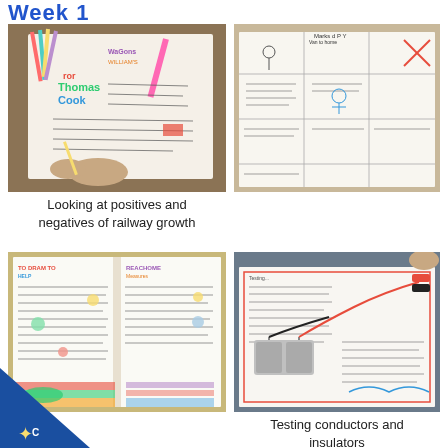Week 1
[Figure (photo): Child's hands drawing/writing on a colourful illustrated poster about Thomas Cook on a desk with pencils]
[Figure (photo): A worksheet or booklet spread open showing a grid with hand-drawn illustrations and writing, with a red X visible]
Looking at positives and negatives of railway growth
[Figure (photo): An open exercise book showing hand-written and hand-drawn colourful pages with text and drawings]
[Figure (photo): An open exercise book with a battery and wires set up on it for an electricity experiment testing conductors and insulators]
Testing conductors and insulators